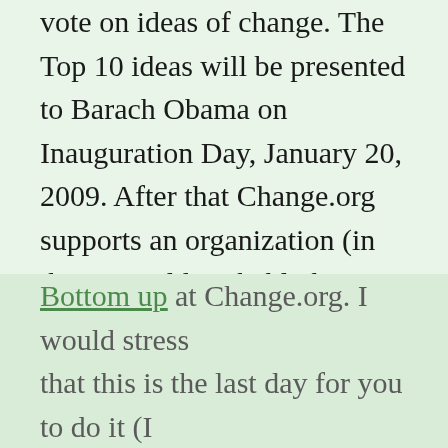vote on ideas of change. The Top 10 ideas will be presented to Barach Obama on Inauguration Day, January 20, 2009. After that Change.org supports an organization (in this it would probably be Uncrunch America) in getting the idea implemented. The details of all this are a little fuzzy to me, but you can read the FAQ here.
So if you think that this idea for helping make credit available should get Barack Obama's attention, please vote for Solving the Credit Crisis From the Bottom up at Change.org. I would stress that this is the last day for you to do it (I